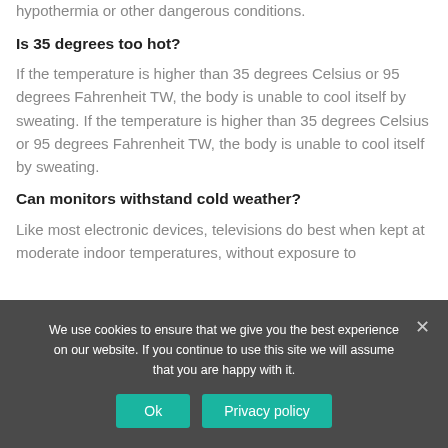hypothermia or other dangerous conditions.
Is 35 degrees too hot?
If the temperature is higher than 35 degrees Celsius or 95 degrees Fahrenheit TW, the body is unable to cool itself by sweating. If the temperature is higher than 35 degrees Celsius or 95 degrees Fahrenheit TW, the body is unable to cool itself by sweating.
Can monitors withstand cold weather?
Like most electronic devices, televisions do best when kept at moderate indoor temperatures, without exposure to
We use cookies to ensure that we give you the best experience on our website. If you continue to use this site we will assume that you are happy with it.